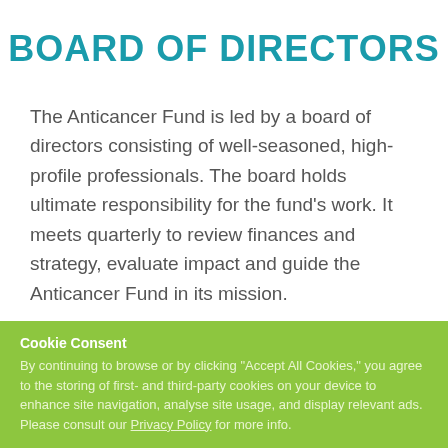BOARD OF DIRECTORS
The Anticancer Fund is led by a board of directors consisting of well-seasoned, high-profile professionals. The board holds ultimate responsibility for the fund's work. It meets quarterly to review finances and strategy, evaluate impact and guide the Anticancer Fund in its mission.
Cookie Consent
By continuing to browse or by clicking "Accept All Cookies," you agree to the storing of first- and third-party cookies on your device to enhance site navigation, analyse site usage, and display relevant ads. Please consult our Privacy Policy for more info.